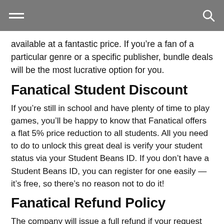[Navigation bar with hamburger menu and search icon]
available at a fantastic price. If you're a fan of a particular genre or a specific publisher, bundle deals will be the most lucrative option for you.
Fanatical Student Discount
If you're still in school and have plenty of time to play games, you'll be happy to know that Fanatical offers a flat 5% price reduction to all students. All you need to do to unlock this great deal is verify your student status via your Student Beans ID. If you don't have a Student Beans ID, you can register for one easily — it's free, so there's no reason not to do it!
Fanatical Refund Policy
The company will issue a full refund if your request